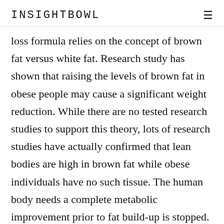INSIGHTBOWL
loss formula relies on the concept of brown fat versus white fat. Research study has shown that raising the levels of brown fat in obese people may cause a significant weight reduction. While there are no tested research studies to support this theory, lots of research studies have actually confirmed that lean bodies are high in brown fat while obese individuals have no such tissue. The human body needs a complete metabolic improvement prior to fat build-up is stopped. With the ideal formula, the body